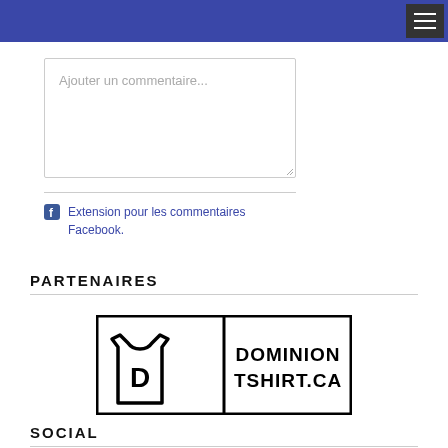Ajouter un commentaire...
Extension pour les commentaires Facebook.
PARTENAIRES
[Figure (logo): Dominion Tshirt.ca logo — black border rectangle with a T-shirt icon on the left side and the text DOMINION TSHIRT.CA on the right side in bold black letters]
SOCIAL